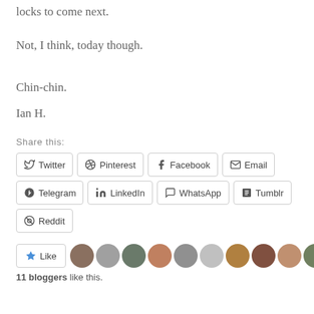locks to come next.
Not, I think, today though.
Chin-chin.
Ian H.
Share this:
Twitter  Pinterest  Facebook  Email  Telegram  LinkedIn  WhatsApp  Tumblr  Reddit
11 bloggers like this.